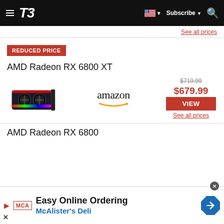T3 — Subscribe
See all prices
REDUCED PRICE
AMD Radeon RX 6800 XT
[Figure (photo): AMD Radeon RX 6800 XT graphics card product image and Amazon retailer logo with pricing: original $719.99, sale $679.99]
See all prices
AMD Radeon RX 6800
Easy Online Ordering McAlister's Deli